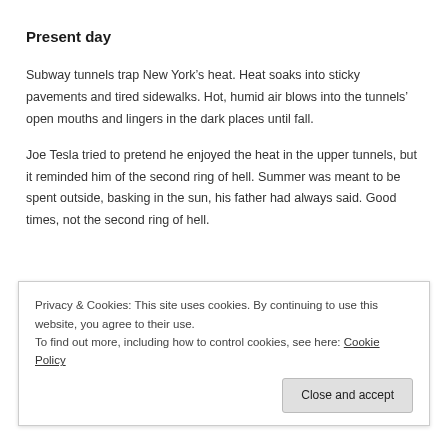Present day
Subway tunnels trap New York’s heat. Heat soaks into sticky pavements and tired sidewalks. Hot, humid air blows into the tunnels’ open mouths and lingers in the dark places until fall.
Joe Tesla tried to pretend he enjoyed the heat in the upper tunnels, but it reminded him of the second ring of hell. Summer was meant to be spent outside, basking in the sun, his father had always said. Good times, not the second ring of hell.
Privacy & Cookies: This site uses cookies. By continuing to use this website, you agree to their use.
To find out more, including how to control cookies, see here: Cookie Policy
Close and accept